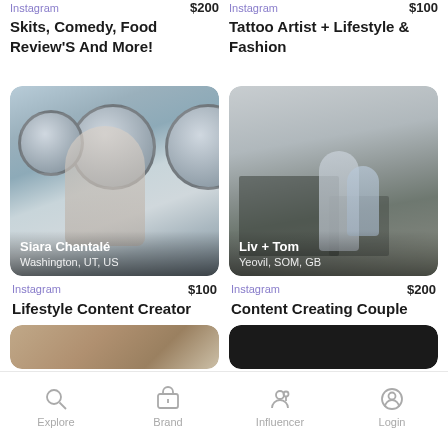Instagram  $200 / Skits, Comedy, Food Review'S And More!
Instagram  $100 / Tattoo Artist + Lifestyle & Fashion
[Figure (photo): Woman at a laundromat with washing machines. Overlay text: Siara Chantalé, Washington, UT, US]
Instagram  $100  Lifestyle Content Creator
[Figure (photo): Couple outdoors near a shed. Overlay text: Liv + Tom, Yeovil, SOM, GB]
Instagram  $200  Content Creating Couple
Explore  Brand  Influencer  Login